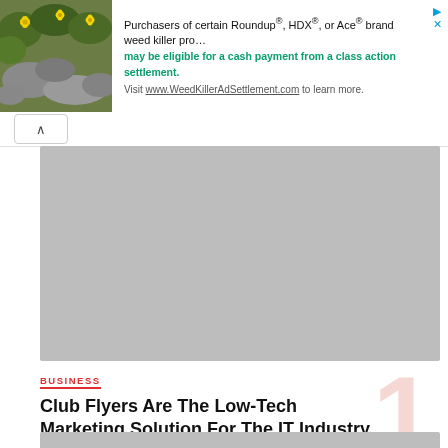[Figure (screenshot): Advertisement banner with a photo of yellow flowers on stones on the left, and text about Roundup/HDX/Ace weed killer class action settlement on the right]
Club Flyers Are The Low-Tech Marketing Solution For The IT Industry
February 18, 2016 · 3887 views
[Figure (photo): Gray placeholder image for article thumbnail at bottom of page]